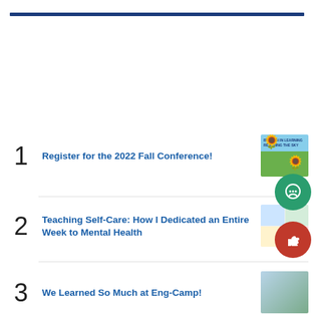[Figure (other): Dark blue horizontal rule at top of page]
Register for the 2022 Fall Conference!
Teaching Self-Care: How I Dedicated an Entire Week to Mental Health
We Learned So Much at Eng-Camp!
Register for Eng-Camp 2022